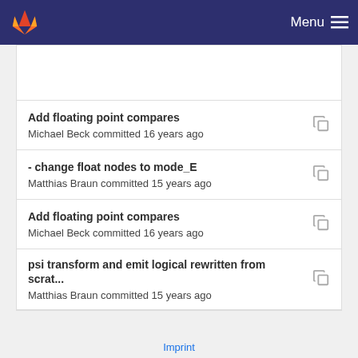GitLab - Menu
Add floating point compares
Michael Beck committed 16 years ago
- change float nodes to mode_E
Matthias Braun committed 15 years ago
Add floating point compares
Michael Beck committed 16 years ago
psi transform and emit logical rewritten from scrat...
Matthias Braun committed 15 years ago
Imprint